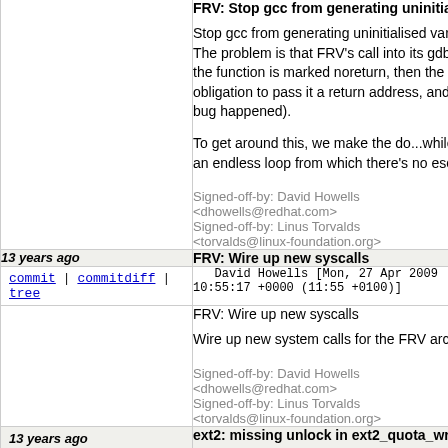FRV: Stop gcc from generating uninitialised variab...
Stop gcc from generating uninitialised variable wa... The problem is that FRV's call into its gdbstub app... the function is marked noreturn, then the compiler... obligation to pass it a return address, and so GDB... bug happened).

To get around this, we make the do...while wrappe... an endless loop from which there's no escape.
Signed-off-by: David Howells <dhowells@redhat.com>
Signed-off-by: Linus Torvalds <torvalds@linux-foundation.org>
13 years ago
FRV: Wire up new syscalls
commit | commitdiff | tree    David Howells [Mon, 27 Apr 2009 10:55:17 +0000 (11:55 +0100)]
FRV: Wire up new syscalls

Wire up new system calls for the FRV arch (pread...
Signed-off-by: David Howells <dhowells@redhat.com>
Signed-off-by: Linus Torvalds <torvalds@linux-foundation.org>
13 years ago